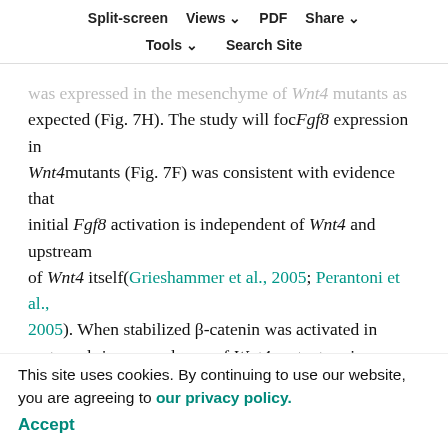Split-screen | Views | PDF | Share | Tools | Search Site
was expressed in the mesenchyme of Wnt4 mutants as expected (Fig. 7H). The study will focus on Fgf8 expression in Wnt4 mutants (Fig. 7F) was consistent with evidence that initial Fgf8 activation is independent of Wnt4 and upstream of Wnt4 itself (Grieshammer et al., 2005; Perantoni et al., 2005). When stabilized β-catenin was activated in metanephric mesenchyme of Wnt4 mutants using Six2TGC, we observed ectopic expression of Fgf8, Pax8 and de novo activation of Lhx1 in the mesenchyme derivatives (Fig. 7N-P). Together, these results indicate that stabilization of β-catenin, the crucial regulatory event in transcriptional regulation of the canonical Wnt signaling pathway, functionally replaces the activities of Wnt9b and Wnt4 in induction of metanephric mesenchyme.
This site uses cookies. By continuing to use our website, you are agreeing to our privacy policy. Accept